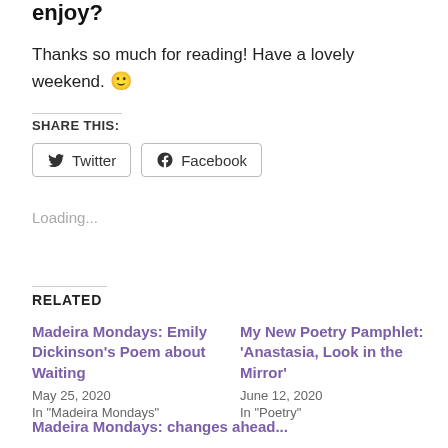enjoy?
Thanks so much for reading! Have a lovely weekend. 🙂
SHARE THIS:
Twitter  Facebook
Loading...
RELATED
Madeira Mondays: Emily Dickinson's Poem about Waiting
May 25, 2020
In "Madeira Mondays"
My New Poetry Pamphlet: 'Anastasia, Look in the Mirror'
June 12, 2020
In "Poetry"
Madeira Mondays: changes ahead...